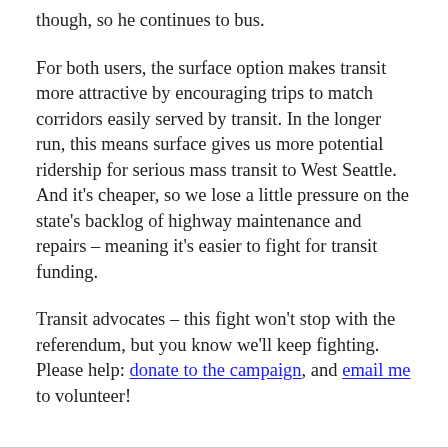though, so he continues to bus.
For both users, the surface option makes transit more attractive by encouraging trips to match corridors easily served by transit. In the longer run, this means surface gives us more potential ridership for serious mass transit to West Seattle. And it's cheaper, so we lose a little pressure on the state's backlog of highway maintenance and repairs – meaning it's easier to fight for transit funding.
Transit advocates – this fight won't stop with the referendum, but you know we'll keep fighting. Please help: donate to the campaign, and email me to volunteer!